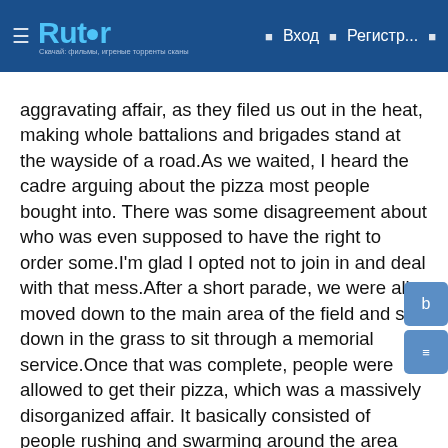Rutor | Вход | Регистр...
aggravating affair, as they filed us out in the heat, making whole battalions and brigades stand at the wayside of a road.As we waited, I heard the cadre arguing about the pizza most people bought into. There was some disagreement about who was even supposed to have the right to order some.I'm glad I opted not to join in and deal with that mess.After a short parade, we were all moved down to the main area of the field and sat down in the grass to sit through a memorial service.Once that was complete, people were allowed to get their pizza, which was a massively disorganized affair. It basically consisted of people rushing and swarming around the area where the pizza was.Sitting back down on the grass, the concert went on in my periphery while I spoke with a friend.Day 282Waking up was difficult today. The late return from the previous day's activities cost us sleep.This is the final Sunday of the cycle. The day consists of what the previous have: weapons cleaning down the smallest details.Day 283Today we were awoken an hour earlier than the time we'd been briefed on, and were told to turn in all of the gear we were issued previously. It turned out to be